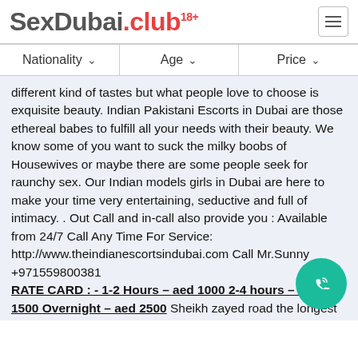SexDubai.club 18+
Nationality   Age   Price
different kind of tastes but what people love to choose is exquisite beauty. Indian Pakistani Escorts in Dubai are those ethereal babes to fulfill all your needs with their beauty. We know some of you want to suck the milky boobs of Housewives or maybe there are some people seek for raunchy sex. Our Indian models girls in Dubai are here to make your time very entertaining, seductive and full of intimacy. . Out Call and in-call also provide you : Available from 24/7 Call Any Time For Service: http://www.theindianescortsindubai.com Call Mr.Sunny +971559800381 RATE CARD : - 1-2 Hours – aed 1000 2-4 hours – aed 1500 Overnight – aed 2500 Sheikh zayed road the longest road in the uae it connects the important cities in the dubai. who donot want to take a long ride with the gorgeous hot escort in dubai. the long ride with the hot girl will be the pleasant time. our girls are very ambitious to provide you the thrilling ride on this road. They know each and every move which can your ride memorable and pleasurable. We are providing the best our girls are the well known escorts in dubai for their classy services and their behaviour towars the customer. They understand the need of clients and accommodate their need through their six lap. They provide the specific...